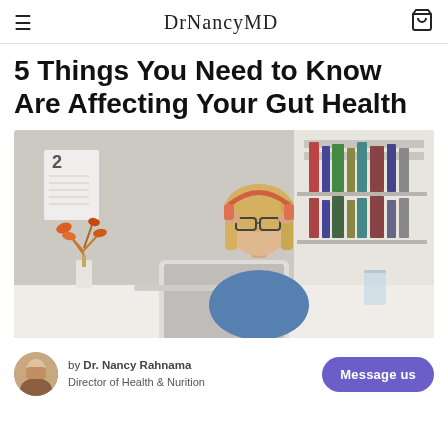DrNancyMD
5 Things You Need to Know Are Affecting Your Gut Health
[Figure (photo): Woman with blonde hair wearing glasses and headphones, sitting at a white desk with a laptop, holding her temples with both hands looking stressed. On the desk is a vase with orange dried flowers and a glass of water. Background shows white bookshelves.]
by Dr. Nancy Rahnama
Director of Health & Nurition